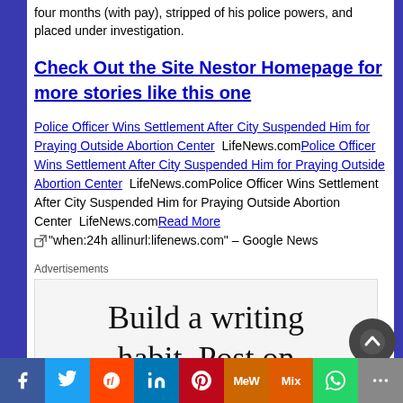four months (with pay), stripped of his police powers, and placed under investigation.
Check Out the Site Nestor Homepage for more stories like this one
Police Officer Wins Settlement After City Suspended Him for Praying Outside Abortion Center  LifeNews.comPolice Officer Wins Settlement After City Suspended Him for Praying Outside Abortion Center  LifeNews.comPolice Officer Wins Settlement After City Suspended Him for Praying Outside Abortion Center  LifeNews.comRead More  "when:24h allinurl:lifenews.com" – Google News
Advertisements
[Figure (other): Advertisement banner showing text 'Build a writing habit. Post on']
Facebook Twitter Reddit LinkedIn Pinterest MeWe Mix WhatsApp More